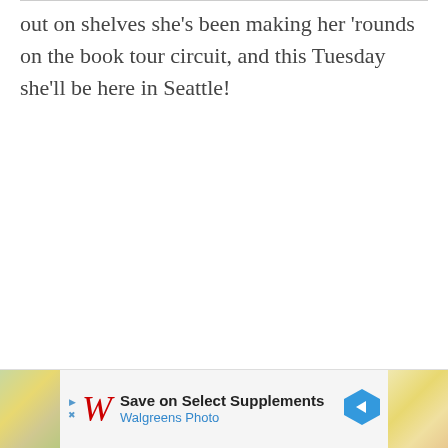out on shelves she's been making her 'rounds on the book tour circuit, and this Tuesday she'll be here in Seattle!
[Figure (other): Walgreens advertisement banner: 'Save on Select Supplements / Walgreens Photo' with Walgreens cursive W logo, play/close buttons, directional arrow icon, and thumbnail images on left and right sides.]